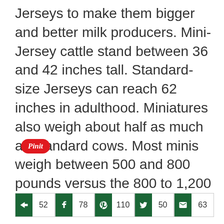Jerseys to make them bigger and better milk producers. Mini-Jersey cattle stand between 36 and 42 inches tall. Standard-size Jerseys can reach 62 inches in adulthood. Miniatures also weigh about half as much as standard cows. Most minis weigh between 500 and 800 pounds versus the 800 to 1,200 pounds of a standard Jersey.
[Figure (other): Pinterest 'Pin it' button in red rounded rectangle with italic white text]
[Figure (infographic): Social share bar with 5 buttons: share (52), facebook (78), pinterest (110), twitter (50), email (63)]